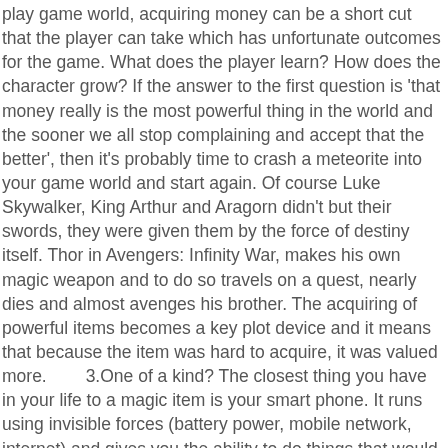play game world, acquiring money can be a short cut that the player can take which has unfortunate outcomes for the game. What does the player learn? How does the character grow? If the answer to the first question is 'that money really is the most powerful thing in the world and the sooner we all stop complaining and accept that the better', then it's probably time to crash a meteorite into your game world and start again. Of course Luke Skywalker, King Arthur and Aragorn didn't but their swords, they were given them by the force of destiny itself. Thor in Avengers: Infinity War, makes his own magic weapon and to do so travels on a quest, nearly dies and almost avenges his brother. The acquiring of powerful items becomes a key plot device and it means that because the item was hard to acquire, it was valued more.        3.One of a kind? The closest thing you have in your life to a magic item is your smart phone. It runs using invisible forces (battery power, mobile network, internet) and gives you the ability to do things that would have seemed fantastical only a generation ago. The difference between an extraordinary item like a phone and a magic ring or cloak is partly to do with the uniqueness of the latter. Galadriel's ring was not mass produced, it was unique and part of a limited edition series created